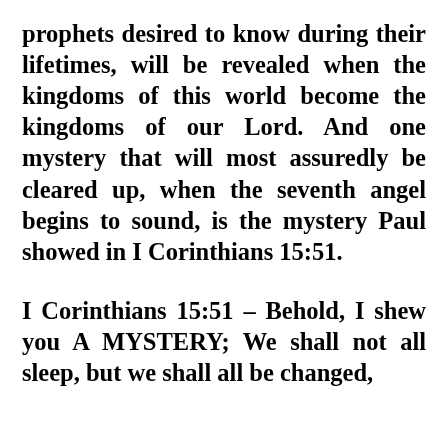prophets desired to know during their lifetimes, will be revealed when the kingdoms of this world become the kingdoms of our Lord. And one mystery that will most assuredly be cleared up, when the seventh angel begins to sound, is the mystery Paul showed in I Corinthians 15:51.
I Corinthians 15:51 – Behold, I shew you A MYSTERY; We shall not all sleep, but we shall all be changed,